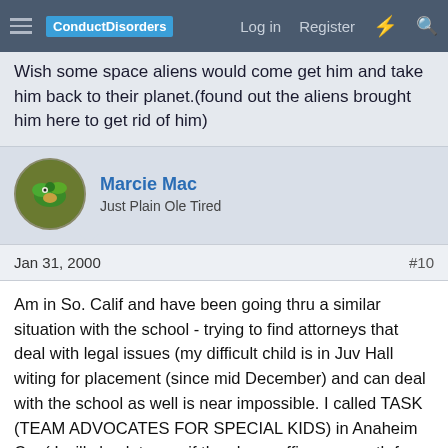ConductDisorders  Log in  Register
Wish some space aliens would come get him and take him back to their planet.(found out the aliens brought him here to get rid of him)
Marcie Mac
Just Plain Ole Tired
Jan 31, 2000
#10
Am in So. Calif and have been going thru a similar situation with the school - trying to find attorneys that deal with legal issues (my difficult child is in Juv Hall witing for placement (since mid December) and can deal with the school as well is near impossible. I called TASK (TEAM ADVOCATES FOR SPECIAL KIDS) in Anaheim Ca. ( I will check to see if they have offices up north for you), hired someone to deal with the school and their non compliance on just about everthing, i.e. exiting him out of school (not expelling, not suspending,